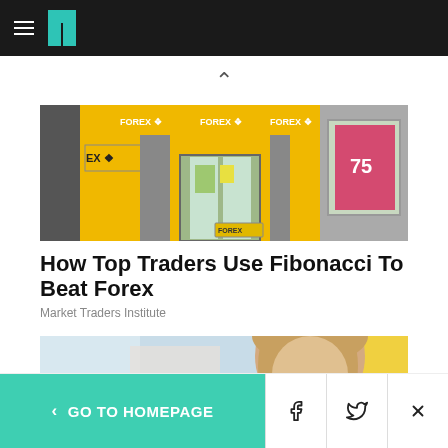HuffPost navigation header with hamburger menu and logo
[Figure (photo): Exterior of a Forex currency exchange shop with yellow signage reading FOREX]
How Top Traders Use Fibonacci To Beat Forex
Market Traders Institute
[Figure (photo): Partial photo of a blonde woman looking upward, with yellow and blue background]
< GO TO HOMEPAGE | Facebook icon | Twitter icon | X (close)